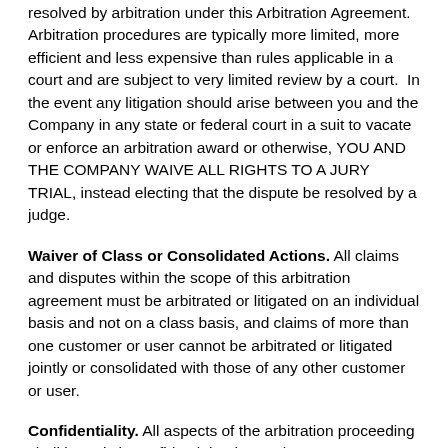resolved by arbitration under this Arbitration Agreement. Arbitration procedures are typically more limited, more efficient and less expensive than rules applicable in a court and are subject to very limited review by a court. In the event any litigation should arise between you and the Company in any state or federal court in a suit to vacate or enforce an arbitration award or otherwise, YOU AND THE COMPANY WAIVE ALL RIGHTS TO A JURY TRIAL, instead electing that the dispute be resolved by a judge.
Waiver of Class or Consolidated Actions. All claims and disputes within the scope of this arbitration agreement must be arbitrated or litigated on an individual basis and not on a class basis, and claims of more than one customer or user cannot be arbitrated or litigated jointly or consolidated with those of any other customer or user.
Confidentiality. All aspects of the arbitration proceeding shall be strictly confidential. The parties agree to maintain confidentiality unless otherwise required by law. This paragraph